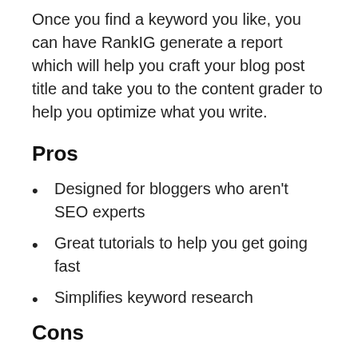Once you find a keyword you like, you can have RankIG generate a report which will help you craft your blog post title and take you to the content grader to help you optimize what you write.
Pros
Designed for bloggers who aren't SEO experts
Great tutorials to help you get going fast
Simplifies keyword research
Cons